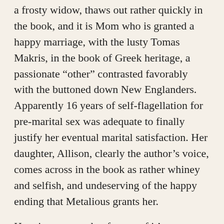a frosty widow, thaws out rather quickly in the book, and it is Mom who is granted a happy marriage, with the lusty Tomas Makris, in the book of Greek heritage, a passionate “other” contrasted favorably with the buttoned down New Englanders. Apparently 16 years of self-flagellation for pre-marital sex was adequate to finally justify her eventual marital satisfaction. Her daughter, Allison, clearly the author’s voice, comes across in the book as rather whiney and selfish, and undeserving of the happy ending that Metalious grants her.
Here is an example of some of it’s proselytizing prose, in which Tom argues with Constance that